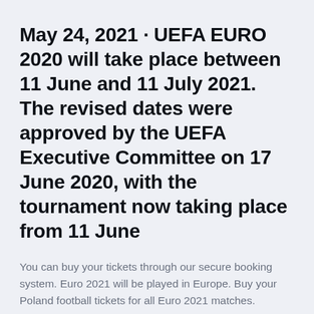May 24, 2021 · UEFA EURO 2020 will take place between 11 June and 11 July 2021. The revised dates were approved by the UEFA Executive Committee on 17 June 2020, with the tournament now taking place from 11 June
You can buy your tickets through our secure booking system. Euro 2021 will be played in Europe. Buy your Poland football tickets for all Euro 2021 matches.
🏴 Poland v Slovakia 🏴. EURO 2020 🏴 Spain v